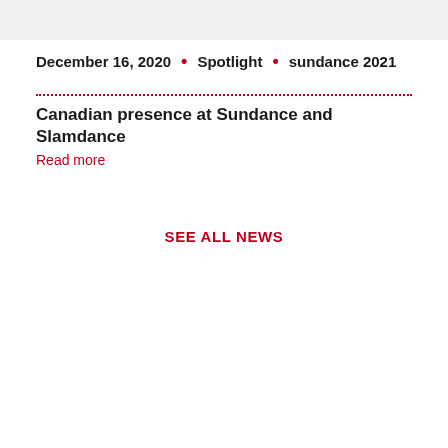December 16, 2020 • Spotlight • sundance 2021
Canadian presence at Sundance and Slamdance
Read more
SEE ALL NEWS